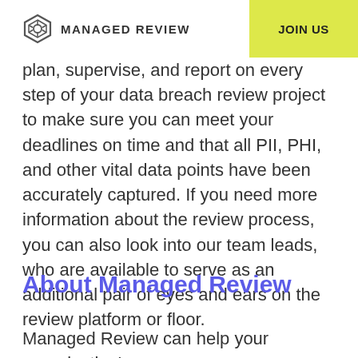MANAGED REVIEW | JOIN US
plan, supervise, and report on every step of your data breach review project to make sure you can meet your deadlines on time and that all PII, PHI, and other vital data points have been accurately captured. If you need more information about the review process, you can also look into our team leads, who are available to serve as an additional pair of eyes and ears on the review platform or floor.
About Managed Review
Managed Review can help your organization's